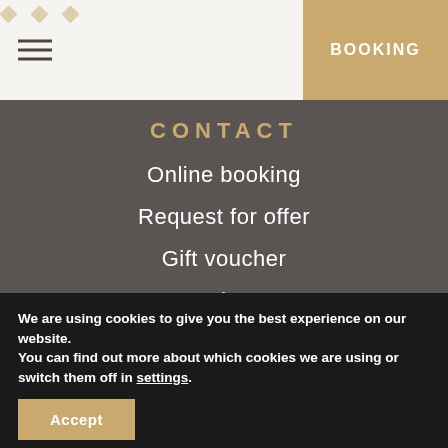BOOKING
CONTACT
Online booking
Request for offer
Gift voucher
Reviews
Map
We are using cookies to give you the best experience on our website. You can find out more about which cookies we are using or switch them off in settings.
Accept